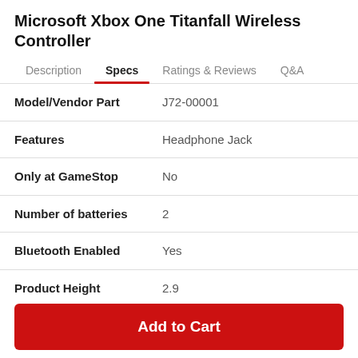Microsoft Xbox One Titanfall Wireless Controller
Description  Specs  Ratings & Reviews  Q&A
| Attribute | Value |
| --- | --- |
| Model/Vendor Part | J72-00001 |
| Features | Headphone Jack |
| Only at GameStop | No |
| Number of batteries | 2 |
| Bluetooth Enabled | Yes |
| Product Height | 2.9 |
Add to Cart